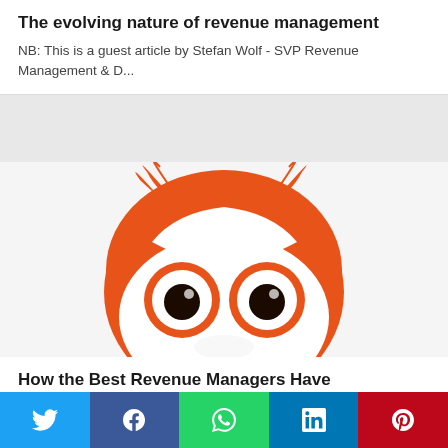The evolving nature of revenue management
NB: This is a guest article by Stefan Wolf - SVP Revenue Management & D...
[Figure (logo): Orange owl face logo with white eyes and dark pupils on white background]
How the Best Revenue Managers Have Transformed The Profession
The 10,000 or so Hotel Revenue Managers around the world are self-dividing ...
[Figure (photo): Partial view of a forest with green trees, cropped at bottom of page]
Twitter | Facebook | WhatsApp | LinkedIn | Pinterest